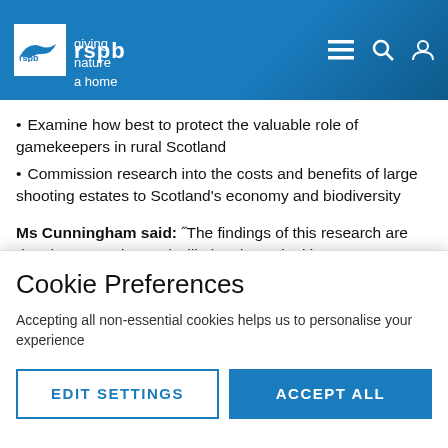[Figure (logo): RSPB logo with bird silhouette and text 'giving nature a home' on blue header with navigation icons (menu, search, user)]
Examine how best to protect the valuable role of gamekeepers in rural Scotland
Commission research into the costs and benefits of large shooting estates to Scotland's economy and biodiversity
Ms Cunningham said: "The findings of this research are deeply concerning and will give rise to legitimate concerns that high numbers of golden eagles, and other birds of prey, continue to be killed in Scotland each year. There is every
Cookie Preferences
Accepting all non-essential cookies helps us to personalise your experience